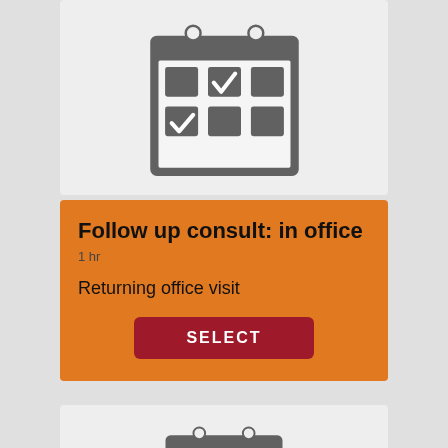[Figure (illustration): Calendar icon with checkmarks in two grid cells, grey on light background]
Follow up consult: in office
1 hr
Returning office visit
[Figure (illustration): SELECT button in dark red/crimson color]
[Figure (illustration): Partial calendar icon at bottom of page, grey on light background]